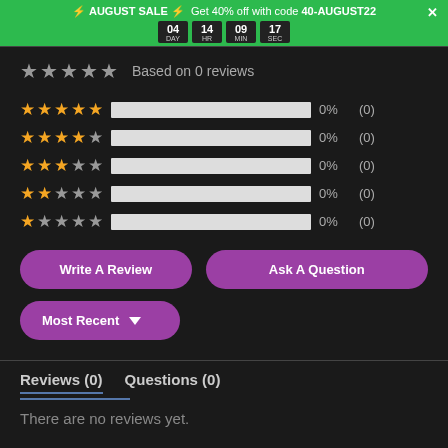⚡ AUGUST SALE ⚡ Get 40% off with code 40-AUGUST22  ×  04 DAY 14 HR 09 MIN 17 SEC
Based on 0 reviews
[Figure (infographic): Star rating breakdown showing 5 rows (5-star to 1-star), each with yellow/grey stars, an empty progress bar, 0% and (0)]
Write A Review   Ask A Question
Most Recent ▼
Reviews (0)   Questions (0)
There are no reviews yet.